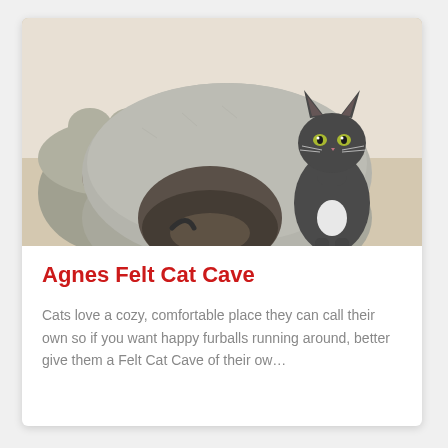[Figure (photo): A gray cat standing next to and partially inside a gray felt cat cave/pod on a light floor, with another felt cat structure visible in the background.]
Agnes Felt Cat Cave
Cats love a cozy, comfortable place they can call their own so if you want happy furballs running around, better give them a Felt Cat Cave of their ow…